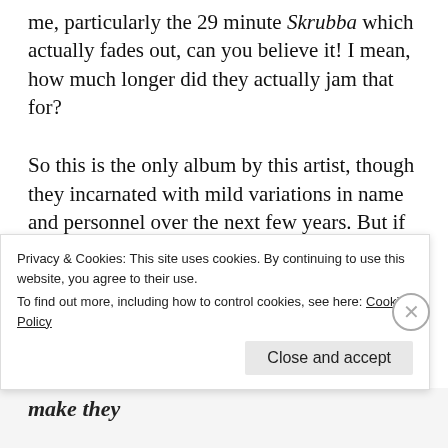me, particularly the 29 minute Skrubba which actually fades out, can you believe it! I mean, how much longer did they actually jam that for?
So this is the only album by this artist, though they incarnated with mild variations in name and personnel over the next few years. But if only one album is your legacy, then why not make it the ur-psychedelic rock album?
Leave a comment
Privacy & Cookies: This site uses cookies. By continuing to use this website, you agree to their use.
To find out more, including how to control cookies, see here: Cookie Policy